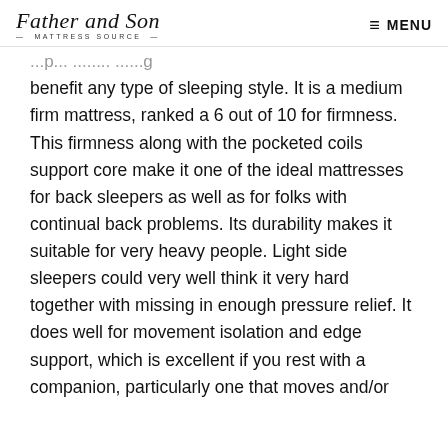Father and Son MATTRESS SOURCE — MENU
benefit any type of sleeping style. It is a medium firm mattress, ranked a 6 out of 10 for firmness. This firmness along with the pocketed coils support core make it one of the ideal mattresses for back sleepers as well as for folks with continual back problems. Its durability makes it suitable for very heavy people. Light side sleepers could very well think it very hard together with missing in enough pressure relief. It does well for movement isolation and edge support, which is excellent if you rest with a companion, particularly one that moves and/or